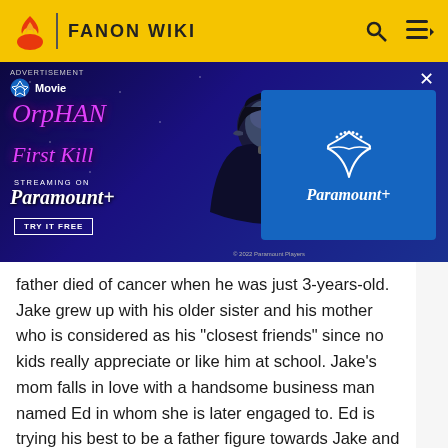FANON WIKI
[Figure (screenshot): Advertisement banner for 'Orphan: First Kill' streaming on Paramount+. Shows title in pink/magenta italic text, a dark-lit female figure, and Paramount+ logo on blue background. Includes 'TRY IT FREE' button.]
father died of cancer when he was just 3-years-old. Jake grew up with his older sister and his mother who is considered as his "closest friends" since no kids really appreciate or like him at school. Jake's mom falls in love with a handsome business man named Ed in whom she is later engaged to. Ed is trying his best to be a father figure towards Jake and will do whatever it takes to be the father that Jake never had. Jake's mom wants to start a new life somewhere far away with her fiancé and so they